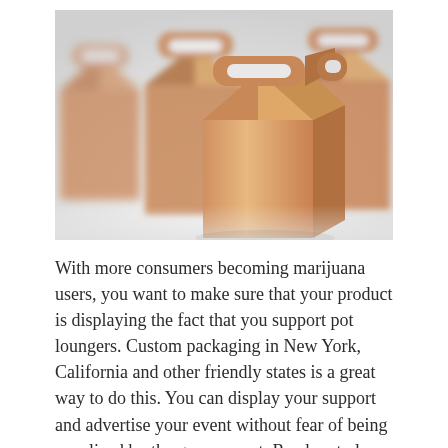[Figure (photo): Several brown kraft paper gable boxes with handles arranged on a white surface. The center box is in sharp focus while others are blurred in the background.]
With more consumers becoming marijuana users, you want to make sure that your product is displaying the fact that you support pot loungers. Custom packaging in New York, California and other friendly states is a great way to do this. You can display your support and advertise your event without fear of being penalized by the government. Read on to learn